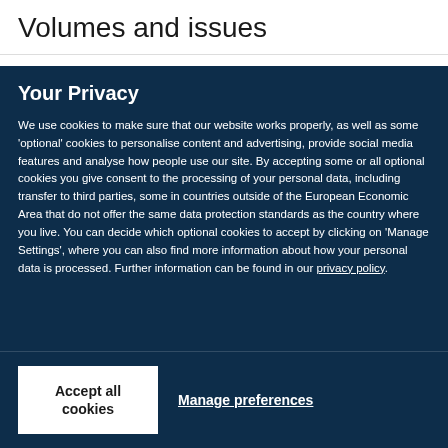Volumes and issues
Your Privacy
We use cookies to make sure that our website works properly, as well as some ‘optional’ cookies to personalise content and advertising, provide social media features and analyse how people use our site. By accepting some or all optional cookies you give consent to the processing of your personal data, including transfer to third parties, some in countries outside of the European Economic Area that do not offer the same data protection standards as the country where you live. You can decide which optional cookies to accept by clicking on ‘Manage Settings’, where you can also find more information about how your personal data is processed. Further information can be found in our privacy policy.
Accept all cookies
Manage preferences